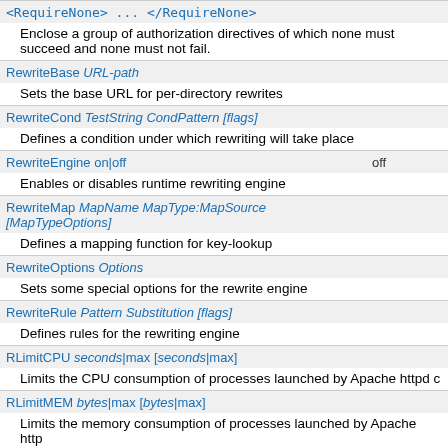| Directive | Default |
| --- | --- |
| <RequireNone> ... </RequireNone> |  |
| Enclose a group of authorization directives of which none must succeed and none must not fail. |  |
| RewriteBase URL-path |  |
| Sets the base URL for per-directory rewrites |  |
| RewriteCond TestString CondPattern [flags] |  |
| Defines a condition under which rewriting will take place |  |
| RewriteEngine on|off | off |
| Enables or disables runtime rewriting engine |  |
| RewriteMap MapName MapType:MapSource [MapTypeOptions] |  |
| Defines a mapping function for key-lookup |  |
| RewriteOptions Options |  |
| Sets some special options for the rewrite engine |  |
| RewriteRule Pattern Substitution [flags] |  |
| Defines rules for the rewriting engine |  |
| RLimitCPU seconds|max [seconds|max] |  |
| Limits the CPU consumption of processes launched by Apache httpd c |  |
| RLimitMEM bytes|max [bytes|max] |  |
| Limits the memory consumption of processes launched by Apache http |  |
| RLimitNPROC number|max [number|max] |  |